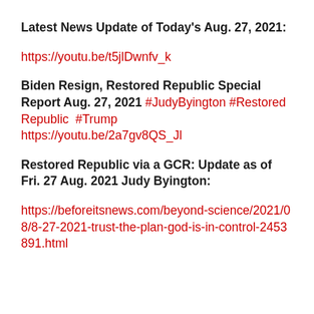Latest News Update of Today's Aug. 27, 2021:
https://youtu.be/t5jlDwnfv_k
Biden Resign, Restored Republic Special Report Aug. 27, 2021 #JudyByington #RestoredRepublic  #Trump https://youtu.be/2a7gv8QS_Jl
Restored Republic via a GCR: Update as of Fri. 27 Aug. 2021 Judy Byington:
https://beforeitsnews.com/beyond-science/2021/08/8-27-2021-trust-the-plan-god-is-in-control-2453891.html